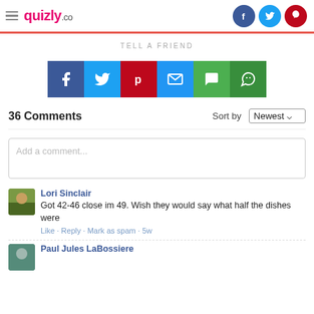quizly.co
TELL A FRIEND
[Figure (infographic): Social share buttons: Facebook (blue), Twitter (cyan), Pinterest (red), Email (blue), SMS (green), WhatsApp (dark green)]
36 Comments    Sort by Newest
Add a comment...
Lori Sinclair
Got 42-46 close im 49. Wish they would say what half the dishes were
Like · Reply · Mark as spam · 5w
Paul Jules LaBossiere